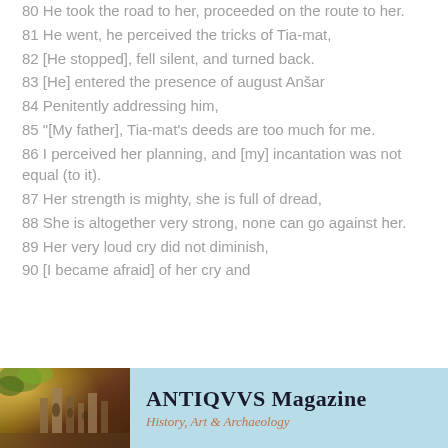80 He took the road to her, proceeded on the route to her.
81 He went, he perceived the tricks of Tia-mat,
82 [He stopped], fell silent, and turned back.
83 [He] entered the presence of august Anšar
84 Penitently addressing him,
85 "[My father], Tia-mat's deeds are too much for me.
86 I perceived her planning, and [my] incantation was not equal (to it).
87 Her strength is mighty, she is full of dread,
88 She is altogether very strong, none can go against her.
89 Her very loud cry did not diminish,
90 [I became afraid] of her cry and
[Figure (infographic): Advertisement banner for ANTIQVVS Magazine - History, Art & Archaeology, with a photo of ancient ruins on the left and text on a light blue background on the right.]